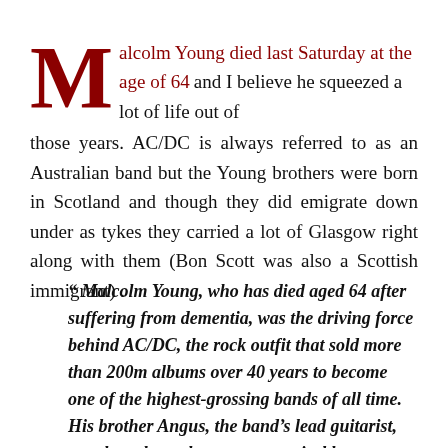Malcolm Young died last Saturday at the age of 64 and I believe he squeezed a lot of life out of those years. AC/DC is always referred to as an Australian band but the Young brothers were born in Scotland and though they did emigrate down under as tykes they carried a lot of Glasgow right along with them (Bon Scott was also a Scottish immigrant) .
“ Malcolm Young, who has died aged 64 after suffering from dementia, was the driving force behind AC/DC, the rock outfit that sold more than 200m albums over 40 years to become one of the highest-grossing bands of all time. His brother Angus, the band’s lead guitarist, may have been the most recognisable element in AC/DC but it’s the last thing